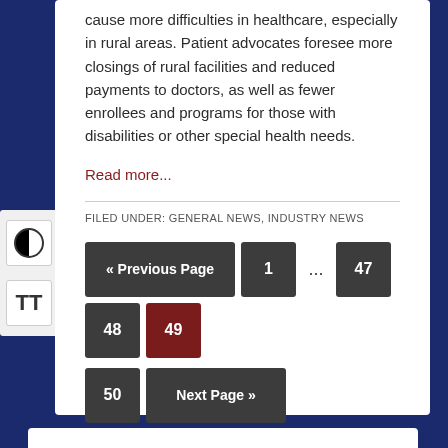cause more difficulties in healthcare, especially in rural areas. Patient advocates foresee more closings of rural facilities and reduced payments to doctors, as well as fewer enrollees and programs for those with disabilities or other special health needs.
Read more...
FILED UNDER: GENERAL NEWS, INDUSTRY NEWS
« Previous Page  1  ...  47  48  49  50  Next Page »